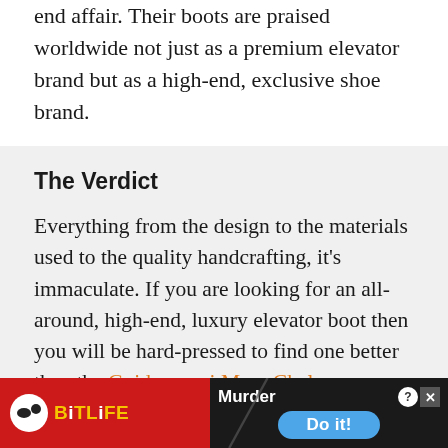end affair. Their boots are praised worldwide not just as a premium elevator brand but as a high-end, exclusive shoe brand.
The Verdict
Everything from the design to the materials used to the quality handcrafting, it's immaculate. If you are looking for an all-around, high-end, luxury elevator boot then you will be hard-pressed to find one better than the Guidomaggi Mesa Chelsea.
[Figure (other): BitLife game advertisement banner with red background, BitLife logo on left, and 'Murder Do it!' call-to-action on right with blue button]